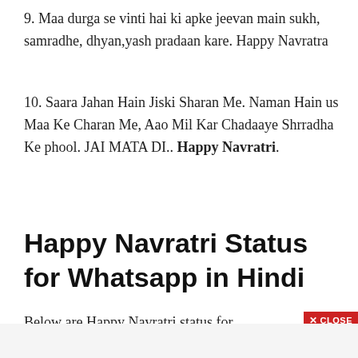9. Maa durga se vinti hai ki apke jeevan main sukh, samradhe, dhyan,yash pradaan kare. Happy Navratra
10. Saara Jahan Hain Jiski Sharan Me. Naman Hain us Maa Ke Charan Me, Aao Mil Kar Chadaaye Shrradha Ke phool. JAI MATA DI.. Happy Navratri.
Happy Navratri Status for Whatsapp in Hindi
Below are Happy Navratri status for whatsapp in hindi
[Figure (other): Advertisement banner for Seamless food ordering service showing pizza image, Seamless logo in red, and ORDER NOW button]